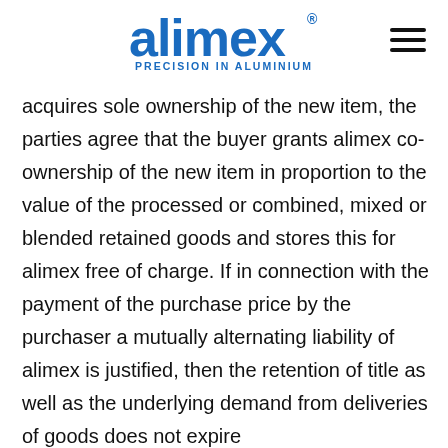[Figure (logo): alimex PRECISION IN ALUMINIUM logo in blue]
acquires sole ownership of the new item, the parties agree that the buyer grants alimex co-ownership of the new item in proportion to the value of the processed or combined, mixed or blended retained goods and stores this for alimex free of charge. If in connection with the payment of the purchase price by the purchaser a mutually alternating liability of alimex is justified, then the retention of title as well as the underlying demand from deliveries of goods does not expire